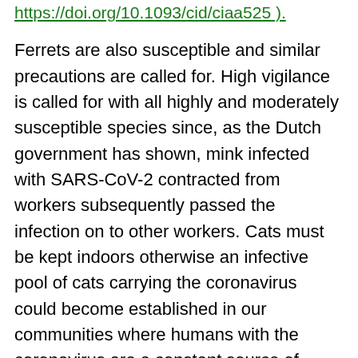https://doi.org/10.1093/cid/ciaa525 ).
Ferrets are also susceptible and similar precautions are called for. High vigilance is called for with all highly and moderately susceptible species since, as the Dutch government has shown, mink infected with SARS-CoV-2 contracted from workers subsequently passed the infection on to other workers. Cats must be kept indoors otherwise an infective pool of cats carrying the coronavirus could become established in our communities where humans with the coronavirus are a constant source of infection and re-infection into the surrounding cat community. Some cats could bring the coronavirus into their homes since cat-to-cat transfer has been documented, but as yet no case of cat-to-human transfer of infection has been reported.